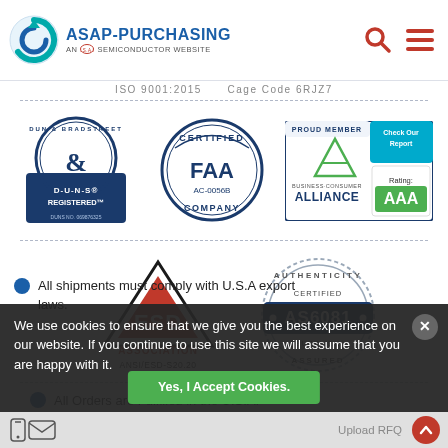ASAP-PURCHASING AN A.S.A.P SEMICONDUCTOR WEBSITE
ISO 9001:2015  Cage Code 6RJZ7
[Figure (logo): Dun & Bradstreet D-U-N-S Registered badge]
[Figure (logo): FAA AC-0056B Certified Company badge]
[Figure (logo): Business Consumer Alliance Proud Member Check Our Report Rating AAA badge]
[Figure (logo): ESD Association ANSI/ESD-S20.20 badge]
[Figure (logo): Authenticity Certified AS6081 Supplier Assured badge]
All Orders are Fulfilled in the U.S.A.
All shipments must comply with U.S.A export laws.
We use cookies to ensure that we give you the best experience on our website. If you continue to use this site we will assume that you are happy with it.
Yes, I Accept Cookies.
Upload RFQ